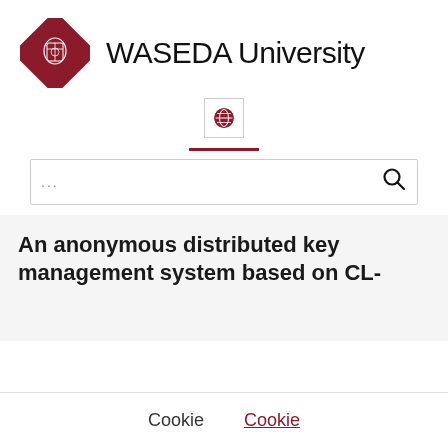[Figure (logo): Waseda University logo: red diamond shape with white crest icon on left, text 'WASEDA University' in large black sans-serif on right]
[Figure (other): Globe/language selector button with red globe icon inside a bordered square button]
[Figure (other): Dark red horizontal divider line]
...
An anonymous distributed key management system based on CL-
Cookie
Cookie